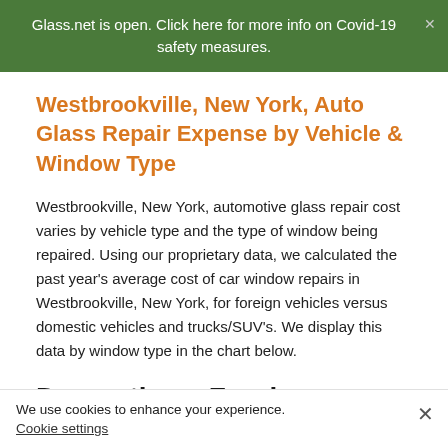Glass.net is open. Click here for more info on Covid-19 safety measures.
Westbrookville, New York, Auto Glass Repair Expense by Vehicle & Window Type
Westbrookville, New York, automotive glass repair cost varies by vehicle type and the type of window being repaired. Using our proprietary data, we calculated the past year's average cost of car window repairs in Westbrookville, New York, for foreign vehicles versus domestic vehicles and trucks/SUV's. We display this data by window type in the chart below.
Domestic vs Foreign vs Luxury
We use cookies to enhance your experience.
Cookie settings